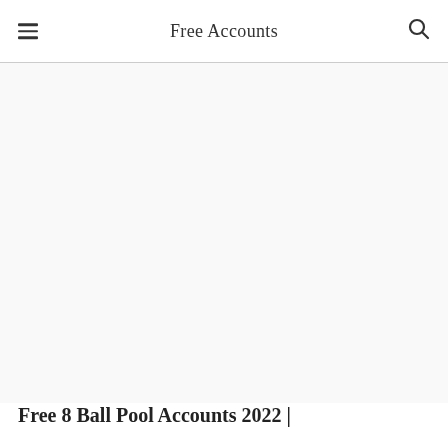Free Accounts
[Figure (other): Advertisement or blank content area below the navigation header]
Free 8 Ball Pool Accounts 2022 |